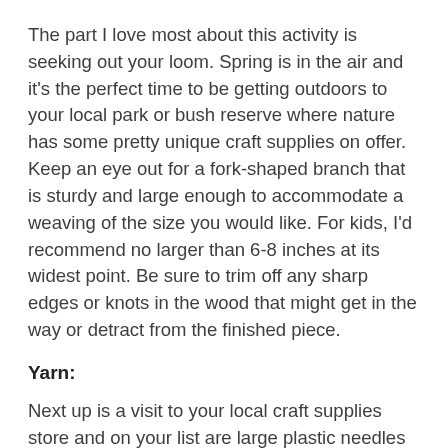The part I love most about this activity is seeking out your loom. Spring is in the air and it's the perfect time to be getting outdoors to your local park or bush reserve where nature has some pretty unique craft supplies on offer. Keep an eye out for a fork-shaped branch that is sturdy and large enough to accommodate a weaving of the size you would like. For kids, I'd recommend no larger than 6-8 inches at its widest point. Be sure to trim off any sharp edges or knots in the wood that might get in the way or detract from the finished piece.
Yarn:
Next up is a visit to your local craft supplies store and on your list are large plastic needles (child friendly!) and a few different coloured balls of yarn. Spotlight stock a wide range of yarn including the thick and